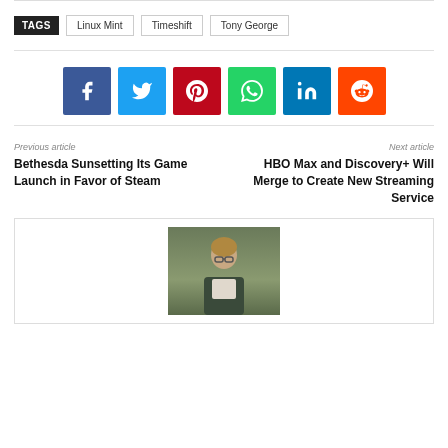TAGS  Linux Mint  Timeshift  Tony George
[Figure (infographic): Social share buttons: Facebook (blue), Twitter (cyan), Pinterest (red), WhatsApp (green), LinkedIn (dark blue), Reddit (orange)]
Previous article
Bethesda Sunsetting Its Game Launch in Favor of Steam
Next article
HBO Max and Discovery+ Will Merge to Create New Streaming Service
[Figure (photo): Author profile photo showing a person with glasses outdoors]